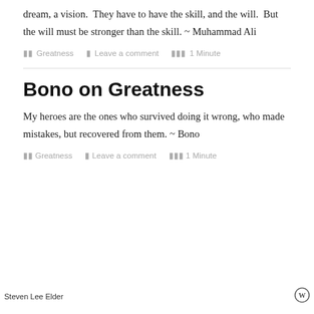dream, a vision.  They have to have the skill, and the will.  But the will must be stronger than the skill. ~ Muhammad Ali
Greatness   Leave a comment   1 Minute
Bono on Greatness
My heroes are the ones who survived doing it wrong, who made mistakes, but recovered from them. ~ Bono
Greatness   Leave a comment   1 Minute
Steven Lee Elder